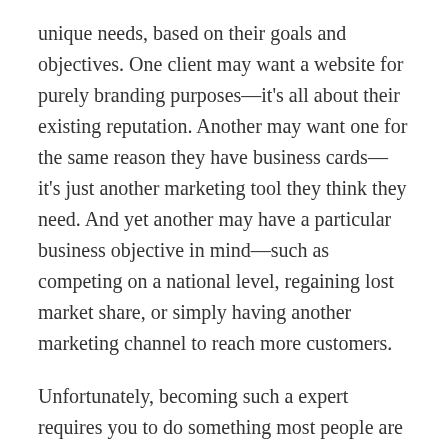unique needs, based on their goals and objectives. One client may want a website for purely branding purposes—it's all about their existing reputation. Another may want one for the same reason they have business cards—it's just another marketing tool they think they need. And yet another may have a particular business objective in mind—such as competing on a national level, regaining lost market share, or simply having another marketing channel to reach more customers.
Unfortunately, becoming such a expert requires you to do something most people are loathe to do —target a niche or vertical market.